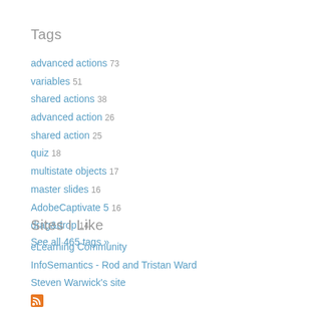Tags
advanced actions 73
variables 51
shared actions 38
advanced action 26
shared action 25
quiz 18
multistate objects 17
master slides 16
AdobeCaptivate 5 16
drag&drop 14
See all 465 tags »
Sites I Like
eLearning Community
InfoSemantics - Rod and Tristan Ward
Steven Warwick's site
[Figure (other): RSS feed icon at bottom left]